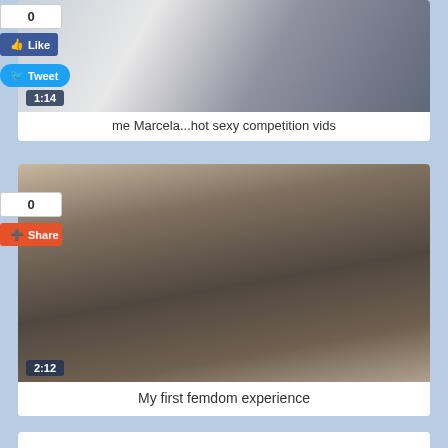[Figure (screenshot): Video thumbnail showing phone screen with bright light, duration badge 1:14]
me Marcela...hot sexy competition vids
[Figure (screenshot): Video thumbnail showing legs in dark stockings on a bed, duration badge 2:12]
My first femdom experience